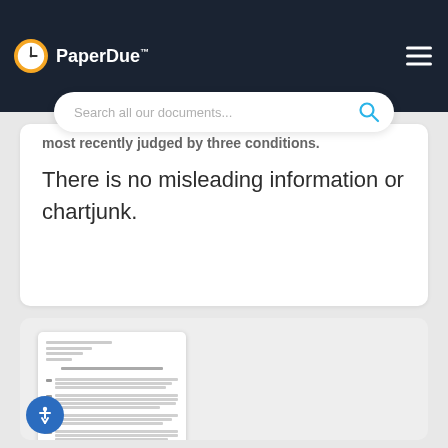PaperDue™
Search all our documents...
There is no misleading information or chartjunk.
[Figure (screenshot): Thumbnail preview of a document page with numbered list items and meta information lines]